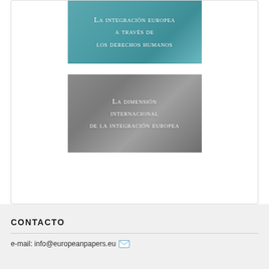[Figure (illustration): Book cover with teal/blue-green background showing title 'La integración europea a través de los derechos humanos' in white small-caps serif text]
[Figure (illustration): Book cover with grey gradient background showing title 'La dimensión internacional de la integración europea' in white small-caps serif text]
CONTACTO
e-mail: info@europeanpapers.eu